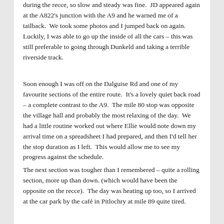during the recce, so slow and steady was fine.  JD appeared again at the A822's junction with the A9 and he warned me of a tailback.  We took some photos and I jumped back on again.  Luckily, I was able to go up the inside of all the cars – this was still preferable to going through Dunkeld and taking a terrible riverside track.
Soon enough I was off on the Dalguise Rd and one of my favourite sections of the entire route.  It's a lovely quiet back road – a complete contrast to the A9.  The mile 80 stop was opposite the village hall and probably the most relaxing of the day.  We had a little routine worked out where Ellie would note down my arrival time on a spreadsheet I had prepared, and then I'd tell her the stop duration as I left.  This would allow me to see my progress against the schedule.
The next section was tougher than I remembered – quite a rolling section, more up than down. (which would have been the opposite on the recce).  The day was heating up too, so I arrived at the car park by the café in Pitlochry at mile 89 quite tired.